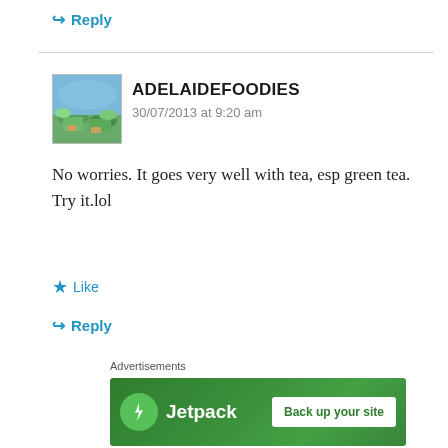↪ Reply
[Figure (photo): Aerial landscape photo used as commenter avatar for ADELAIDEFOODIES]
ADELAIDEFOODIES
30/07/2013 at 9:20 am
No worries. It goes very well with tea, esp green tea. Try it.lol
★ Like
↪ Reply
[Figure (screenshot): Jetpack advertisement banner with green background showing Jetpack logo and 'Back up your site' button]
REPORT THIS AD
[Figure (photo): Generic person silhouette avatar placeholder for commenter NUR HANNANI IAHASAN]
NUR HANNANI IAHASAN